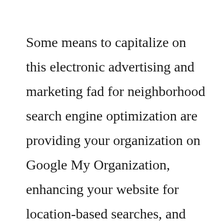Some means to capitalize on this electronic advertising and marketing fad for neighborhood search engine optimization are providing your organization on Google My Organization, enhancing your website for location-based searches, and also optimizing web content for voice search. All of these will be substantial for the health care industry to catch brand-new clients this year and next year.